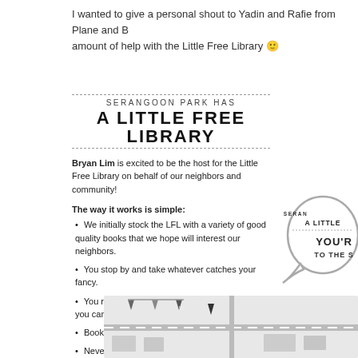I wanted to give a personal shout to Yadin and Rafie from Plane and B… amount of help with the Little Free Library 🙂
SERANGOON PARK HAS A LITTLE FREE LIBRARY
Bryan Lim is excited to be the host for the Little Free Library on behalf of our neighbors and community!
The way it works is simple:
We initially stock the LFL with a variety of good quality books that we hope will interest our neighbors.
You stop by and take whatever catches your fancy.
You return and bring books to contribute when you can
Books are always a gift
Never for sale!
[Figure (illustration): Speech bubble with partial text: SERAN… A LITTLE… YOU'R… TO THE S…]
[Figure (map): Partial map illustration with bunting flags]